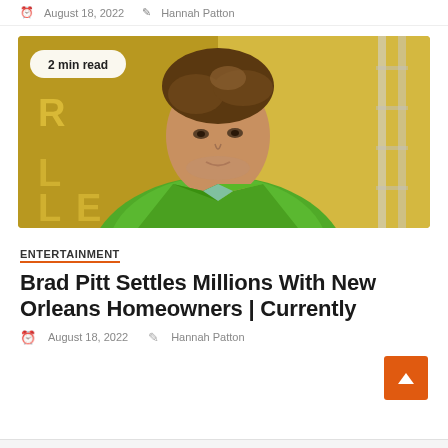August 18, 2022  Hannah Patton
[Figure (photo): Photo of Brad Pitt wearing a green jacket, with a yellow/gold background, with a '2 min read' badge overlaid in the upper left]
ENTERTAINMENT
Brad Pitt Settles Millions With New Orleans Homeowners | Currently
August 18, 2022  Hannah Patton